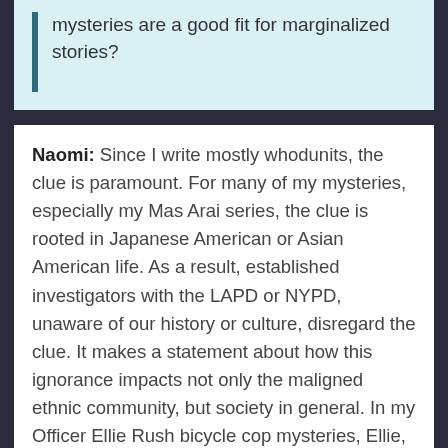mysteries are a good fit for marginalized stories?
Naomi: Since I write mostly whodunits, the clue is paramount. For many of my mysteries, especially my Mas Arai series, the clue is rooted in Japanese American or Asian American life. As a result, established investigators with the LAPD or NYPD, unaware of our history or culture, disregard the clue. It makes a statement about how this ignorance impacts not only the maligned ethnic community, but society in general. In my Officer Ellie Rush bicycle cop mysteries, Ellie, a mixed race Japanese American, understands the systemic racism that has shaped law enforcement, but feels that she feels that she can change things. So there's an additional tension that's neither black nor white. This dynamic